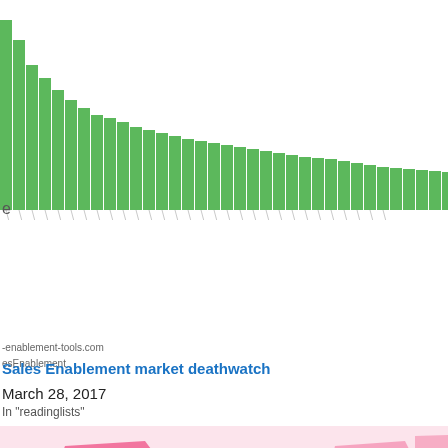[Figure (bar-chart): A bar chart showing many green bars descending in height from left to right, representing sales enablement vendors ranked by some metric. Many bars visible with diagonal label lines below.]
B2B Sale
part of th
$10Bn ar

Not all ve

Last edit:

Submit e
-enablement-tools.com
esEnablement
Sales Enablement market deathwatch
March 28, 2017
In "readinglists"
[Figure (map): World map in pink/hot-pink shades showing views by country. USA is dark pink (high views). Netherlands tooltip shown with Views: 647.]